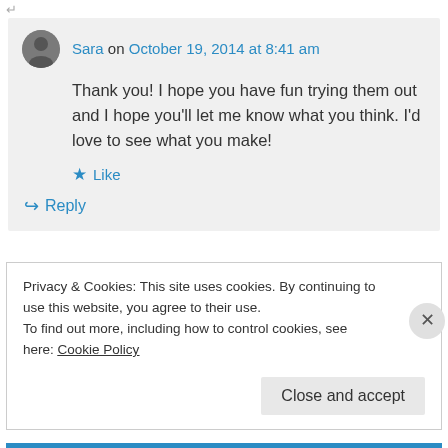Sara on October 19, 2014 at 8:41 am
Thank you! I hope you have fun trying them out and I hope you'll let me know what you think. I'd love to see what you make!
Like
Reply
Privacy & Cookies: This site uses cookies. By continuing to use this website, you agree to their use.
To find out more, including how to control cookies, see here: Cookie Policy
Close and accept